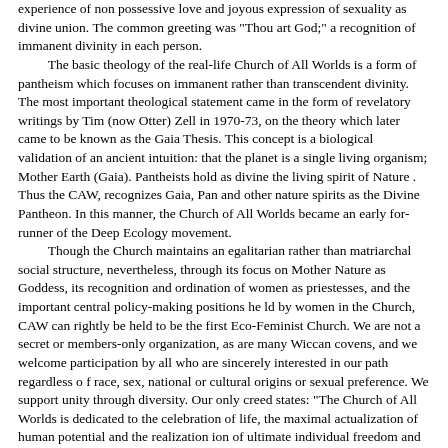experience of non possessive love and joyous expression of sexuality as divine union.  The common greeting was "Thou art God;" a recognition of immanent divinity in each person.

The basic theology of the real-life Church of All Worlds is a form of pantheism which focuses on immanent rather than transcendent divinity.  The most important theological statement came in the form of revelatory writings by Tim (now Otter) Zell in 1970-73, on the theory which later came to be known as the Gaia Thesis.  This concept is a biological validation of an ancient intuition:  that the planet is a single living organism; Mother Earth (Gaia).  Pantheists hold as divine the living spirit of Nature .  Thus the CAW, recognizes Gaia, Pan and other nature spirits as the Divine Pantheon.  In this manner, the Church of All Worlds became an early for-runner of the Deep Ecology movement.

Though the Church maintains an egalitarian rather than matriarchal social structure, nevertheless, through its focus on Mother Nature as Goddess, its recognition and ordination of women as priestesses, and the important central policy-making positions he ld by women in the Church, CAW can rightly be held to be the first Eco-Feminist Church.  We are not a secret or members-only organization, as are many Wiccan covens, and we welcome participation by all who are sincerely interested in our path regardless o f race, sex, national or cultural origins or sexual preference.  We support unity through diversity.  Our only creed states: "The Church of All Worlds is dedicated to the celebration of life, the maximal actualization of human potential and the realization ion of ultimate individual freedom and personal responsibility in harmonious eco-psychic relationship with the total Biosphere of Holy Mother Earth."

Worship in the Church involves weekly or monthly meetings which are held usually in the homes of nest members on a rotational basis.  The basic liturgical form is a Circle where members take turns sharing their